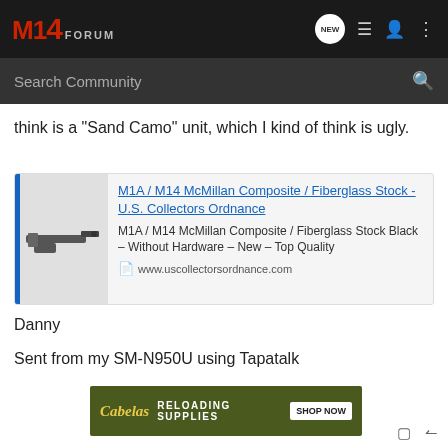M14 FORUM
think is a "Sand Camo" unit, which I kind of think is ugly.
[Figure (screenshot): Ad card for M1A / M14 McMillan Composite / Fiberglass Stock - U.S. Collectors Ordnance, showing a rifle stock image, product title link, description, and URL www.uscollectorsordnance.com]
Danny
Sent from my SM-N950U using Tapatalk
[Figure (other): Cabela's banner ad: RELOADING SUPPLIES - SHOP NOW]